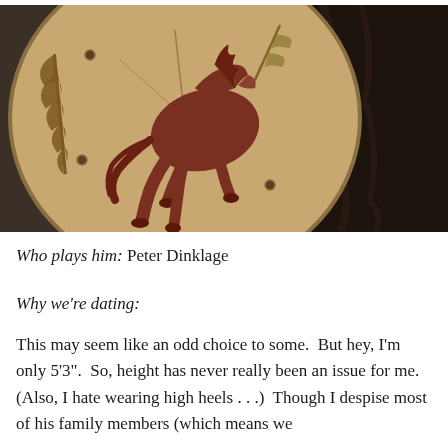[Figure (photo): Close-up photo of a round medieval shield with a brown horse emblem painted on a tan/leather-colored surface, with decorative leaf patterns. Armor is partially visible on the right side.]
Who plays him: Peter Dinklage
Why we're dating:
This may seem like an odd choice to some.  But hey, I'm only 5'3".  So, height has never really been an issue for me.  (Also, I hate wearing high heels . . .)  Though I despise most of his family members (which means we